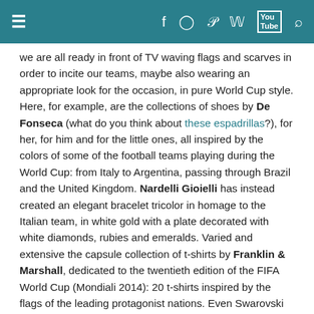≡  f  ◉  P  𝕎  You Tube  🔍
we are all ready in front of TV waving flags and scarves in order to incite our teams, maybe also wearing an appropriate look for the occasion, in pure World Cup style. Here, for example, are the collections of shoes by De Fonseca (what do you think about these espadrillas?), for her, for him and for the little ones, all inspired by the colors of some of the football teams playing during the World Cup: from Italy to Argentina, passing through Brazil and the United Kingdom. Nardelli Gioielli has instead created an elegant bracelet tricolor in homage to the Italian team, in white gold with a plate decorated with white diamonds, rubies and emeralds. Varied and extensive the capsule collection of t-shirts by Franklin & Marshall, dedicated to the twentieth edition of the FIFA World Cup (Mondiali 2014): 20 t-shirts inspired by the flags of the leading protagonist nations. Even Swarovski attends to this important sporting event, creating a new character: his name is Soccer Champion MO L.E., a little cow in crystal, custom with a detailed image of a soccer ball. And then colorful watches, such as those of the Expander 90 collection by Sector, bracelets for good luck, such as those of the WorldFlag line by Il Centimetro, beach bags and bikinis,